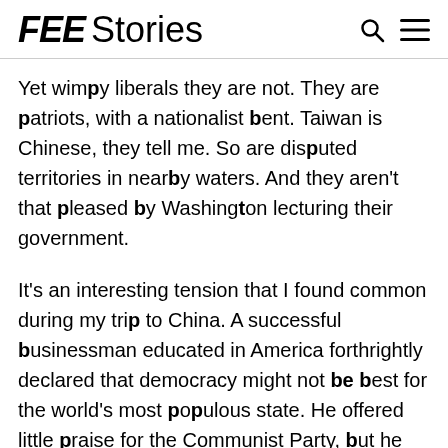FEE Stories
Yet wimpy liberals they are not. They are patriots, with a nationalist bent. Taiwan is Chinese, they tell me. So are disputed territories in nearby waters. And they aren't that pleased by Washington lecturing their government.
It's an interesting tension that I found common during my trip to China. A successful businessman educated in America forthrightly declared that democracy might not be best for the world's most populous state. He offered little praise for the Communist Party, but he obviously didn't want to